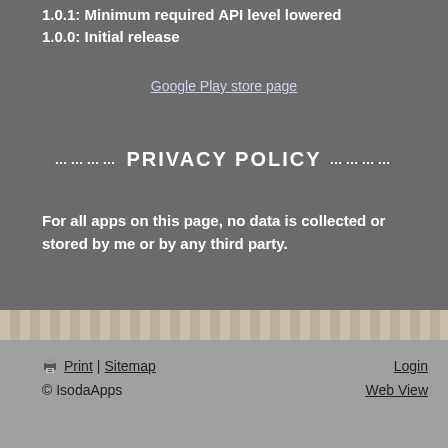1.0.1: Minimum required API level lowered
1.0.0: Initial release
Google Play store page
.......... PRIVACY POLICY ..........
For all apps on this page, no data is collected or stored by me or by any third party.
Print | Sitemap  Login  © IsodaApps  Web View